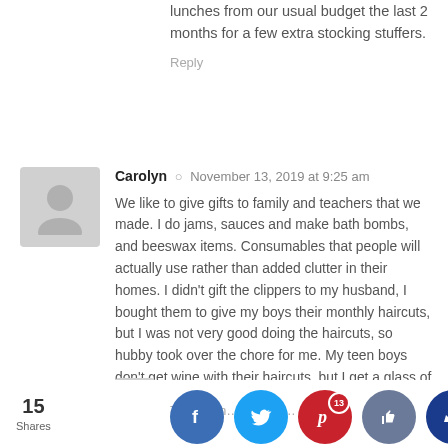lunches from our usual budget the last 2 months for a few extra stocking stuffers.
Reply
[Figure (illustration): Gray placeholder avatar silhouette for commenter Carolyn]
Carolyn  ·  November 13, 2019 at 9:25 am
We like to give gifts to family and teachers that we made. I do jams, sauces and make bath bombs, and beeswax items. Consumables that people will actually use rather than added clutter in their homes. I didn't gift the clippers to my husband, I bought them to give my boys their monthly haircuts, but I was not very good doing the haircuts, so hubby took over the chore for me. My teen boys don't get wine with their haircuts, but I get a glass of wine set out for me to sip when I take a seat on the stool, get caped and get my hair trimmed. My best friend has hubby trim her hair for her and she brings a bottle of wine for us to sip as we get our tresses trimmed. We both like the sweet wine, hubby doesn't so it's only for ladies getting haircuts.
Reply
15 Shares
T… November 2019 a… m